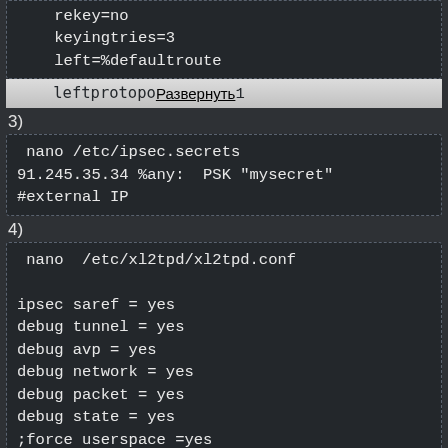rekey=no
keyingtries=3
left=%defaultroute
leftprotoport=1
Развернуть
3)
nano /etc/ipsec.secrets
91.245.35.34 %any:  PSK "mysecret"
#external IP
4)
nano  /etc/xl2tpd/xl2tpd.conf

ipsec saref = yes
debug tunnel = yes
debug avp = yes
debug network = yes
debug packet = yes
debug state = yes
;force userspace =yes

[lns default]